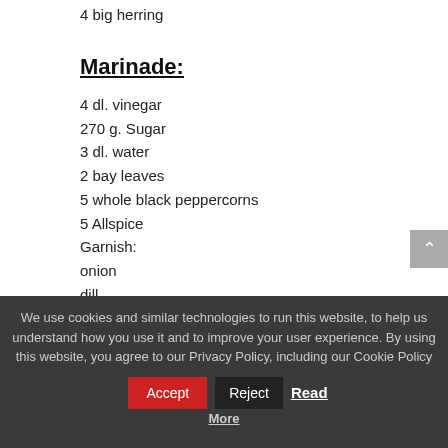4 big herring
Marinade:
4 dl. vinegar
270 g. Sugar
3 dl. water
2 bay leaves
5 whole black peppercorns
5 Allspice
Garnish:
onion
dill
tomato
We use cookies and similar technologies to run this website, to help us understand how you use it and to improve your user experience. By using this website, you agree to our Privacy Policy, including our Cookie Policy Accept Reject Read More